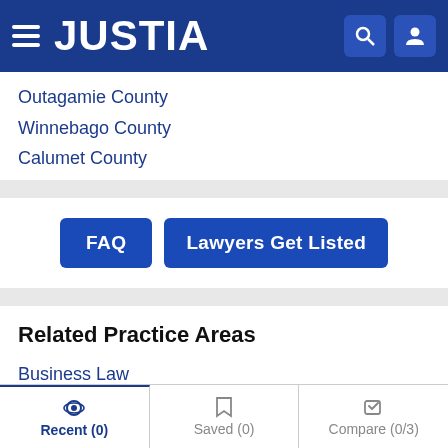JUSTIA
Outagamie County
Winnebago County
Calumet County
FAQ | Lawyers Get Listed
Related Practice Areas
Business Law
Patents
Trademarks
Recent (0) | Saved (0) | Compare (0/3)